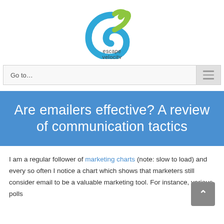[Figure (logo): Escape Velocity logo: a blue-green spiral with a green tail, with text 'escape velocity' below in dark gray lowercase letters]
Go to...
Are emailers effective? A review of communication tactics
I am a regular follower of marketing charts (note: slow to load) and every so often I notice a chart which shows that marketers still consider email to be a valuable marketing tool. For instance, various polls